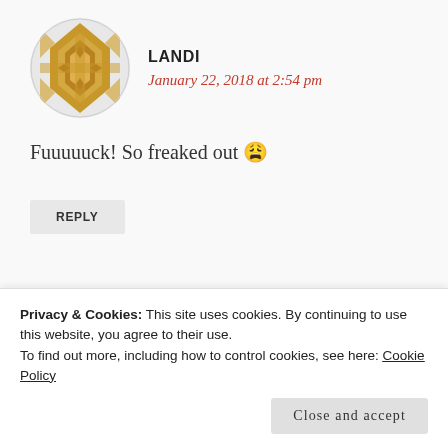[Figure (illustration): Golden/tan geometric diamond pattern avatar icon for user LANDI]
LANDI
January 22, 2018 at 2:54 pm
Fuuuuuck! So freaked out 😩
REPLY
[Figure (photo): Circular profile photo of a woman eating/drinking, appears to be on a plane]
LEIGHVDB
January 22, 2018 at 3:00 pm
Privacy & Cookies: This site uses cookies. By continuing to use this website, you agree to their use.
To find out more, including how to control cookies, see here: Cookie Policy
Close and accept